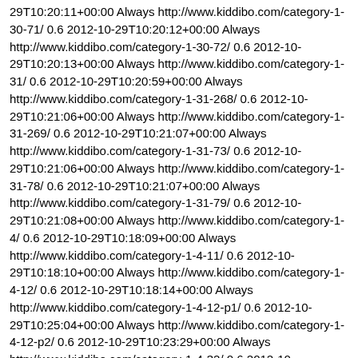29T10:20:11+00:00 Always http://www.kiddibo.com/category-1-30-71/ 0.6 2012-10-29T10:20:12+00:00 Always http://www.kiddibo.com/category-1-30-72/ 0.6 2012-10-29T10:20:13+00:00 Always http://www.kiddibo.com/category-1-31/ 0.6 2012-10-29T10:20:59+00:00 Always http://www.kiddibo.com/category-1-31-268/ 0.6 2012-10-29T10:21:06+00:00 Always http://www.kiddibo.com/category-1-31-269/ 0.6 2012-10-29T10:21:07+00:00 Always http://www.kiddibo.com/category-1-31-73/ 0.6 2012-10-29T10:21:06+00:00 Always http://www.kiddibo.com/category-1-31-78/ 0.6 2012-10-29T10:21:07+00:00 Always http://www.kiddibo.com/category-1-31-79/ 0.6 2012-10-29T10:21:08+00:00 Always http://www.kiddibo.com/category-1-4/ 0.6 2012-10-29T10:18:09+00:00 Always http://www.kiddibo.com/category-1-4-11/ 0.6 2012-10-29T10:18:10+00:00 Always http://www.kiddibo.com/category-1-4-12/ 0.6 2012-10-29T10:18:14+00:00 Always http://www.kiddibo.com/category-1-4-12-p1/ 0.6 2012-10-29T10:25:04+00:00 Always http://www.kiddibo.com/category-1-4-12-p2/ 0.6 2012-10-29T10:23:29+00:00 Always http://www.kiddibo.com/category-1-4-32/ 0.6 2012-10-29T10:18:24+00:00 Always http://www.kiddibo.com/category-1-4-32-p1/ 0.6 2012-10-29T10:25:06+00:00 Always http://www.kiddibo.com/category-1-4-32-p2/ 0.6 2012-10-29T10:25:05+00:00 Always http://www.kiddibo.com/category-1-4-